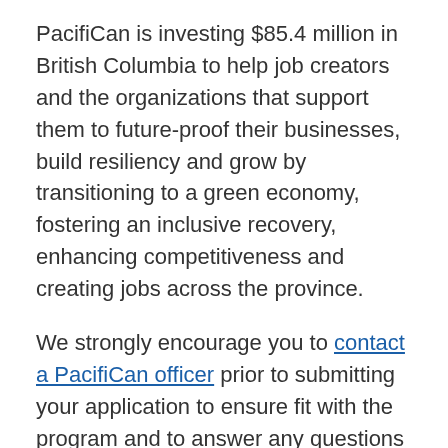PacifiCan is investing $85.4 million in British Columbia to help job creators and the organizations that support them to future-proof their businesses, build resiliency and grow by transitioning to a green economy, fostering an inclusive recovery, enhancing competitiveness and creating jobs across the province.
We strongly encourage you to contact a PacifiCan officer prior to submitting your application to ensure fit with the program and to answer any questions you may have.
Applications will be accepted on a